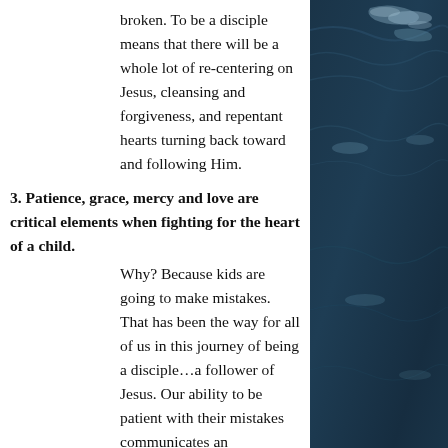broken. To be a disciple means that there will be a whole lot of re-centering on Jesus, cleansing and forgiveness, and repentant hearts turning back toward and following Him.
3. Patience, grace, mercy and love are critical elements when fighting for the heart of a child.
Why?  Because kids are going to make mistakes. That has been the way for all of us in this journey of being a disciple…a follower of Jesus. Our ability to be patient with their mistakes communicates an unconditional love towards
[Figure (photo): Dark blue ocean water with white wave foam and ripples, photographed from above]